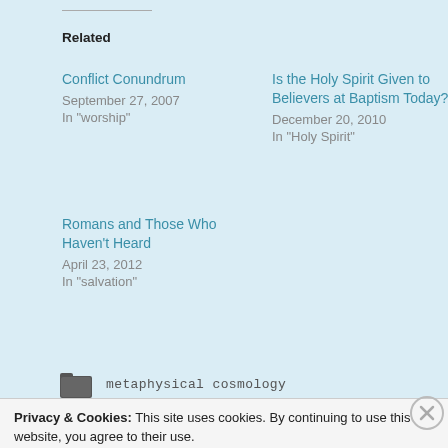Related
Conflict Conundrum
September 27, 2007
In "worship"
Is the Holy Spirit Given to Believers at Baptism Today?
December 20, 2010
In "Holy Spirit"
Romans and Those Who Haven't Heard
April 23, 2012
In "salvation"
metaphysical cosmology
Privacy & Cookies: This site uses cookies. By continuing to use this website, you agree to their use.
To find out more, including how to control cookies, see here: Cookie Policy
Close and accept